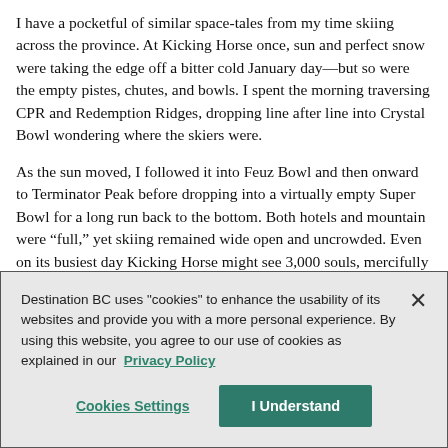I have a pocketful of similar space-tales from my time skiing across the province. At Kicking Horse once, sun and perfect snow were taking the edge off a bitter cold January day—but so were the empty pistes, chutes, and bowls. I spent the morning traversing CPR and Redemption Ridges, dropping line after line into Crystal Bowl wondering where the skiers were.
As the sun moved, I followed it into Feuz Bowl and then onward to Terminator Peak before dropping into a virtually empty Super Bowl for a long run back to the bottom. Both hotels and mountain were “full,” yet skiing remained wide open and uncrowded. Even on its busiest day Kicking Horse might see 3,000 souls, mercifully spread out by the sheer range of on-mountain options.
Things were pretty much the same on a visit to Panorama
Destination BC uses "cookies" to enhance the usability of its websites and provide you with a more personal experience. By using this website, you agree to our use of cookies as explained in our Privacy Policy
Cookies Settings
I Understand